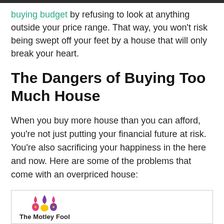buying budget by refusing to look at anything outside your price range. That way, you won't risk being swept off your feet by a house that will only break your heart.
The Dangers of Buying Too Much House
When you buy more house than you can afford, you're not just putting your financial future at risk. You're also sacrificing your happiness in the here and now. Here are some of the problems that come with an overpriced house:
[Figure (logo): The Motley Fool logo with jester hat in purple, pink and yellow]